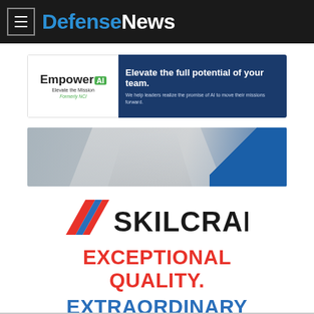DefenseNews
[Figure (logo): EmpowerAI banner ad — left side shows EmpowerAI logo with tagline 'Elevate the Mission' and 'Formerly NCI'; right side dark blue with text 'Elevate the full potential of your team. We help leaders realize the promise of AI to move their missions forward.']
[Figure (photo): Photo strip showing a person in a grey/white shirt with a blue diagonal accent on the right side]
[Figure (logo): SKILCRAFT logo with red/blue diagonal flag stripe mark on left and bold black SKILCRAFT wordmark]
EXCEPTIONAL QUALITY. EXTRAORDINARY